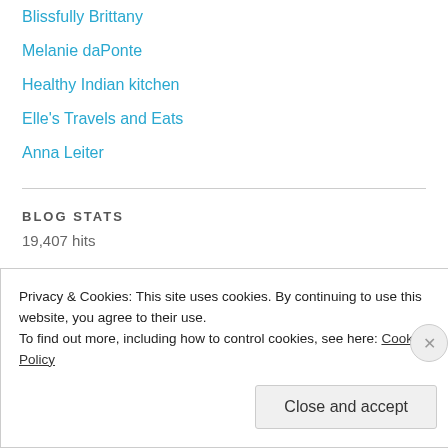Blissfully Brittany
Melanie daPonte
Healthy Indian kitchen
Elle's Travels and Eats
Anna Leiter
BLOG STATS
19,407 hits
THE PLANT BASED NURSE
Privacy & Cookies: This site uses cookies. By continuing to use this website, you agree to their use.
To find out more, including how to control cookies, see here: Cookie Policy
Close and accept